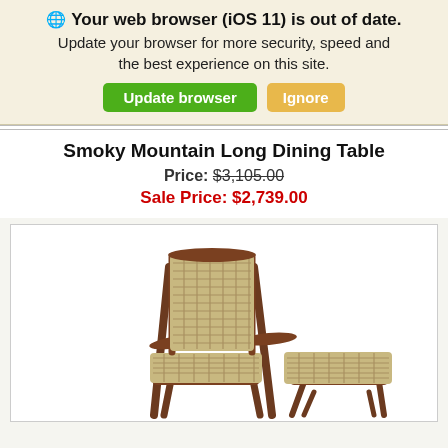🌐 Your web browser (iOS 11) is out of date. Update your browser for more security, speed and the best experience on this site.
Update browser | Ignore
Smoky Mountain Long Dining Table
Price: $3,105.00
Sale Price: $2,739.00
[Figure (photo): A rustic wooden chair with woven natural fiber seat and back, armrests made of bent hickory branches, accompanied by a matching woven ottoman/footstool, both with dark brown branch-style legs.]